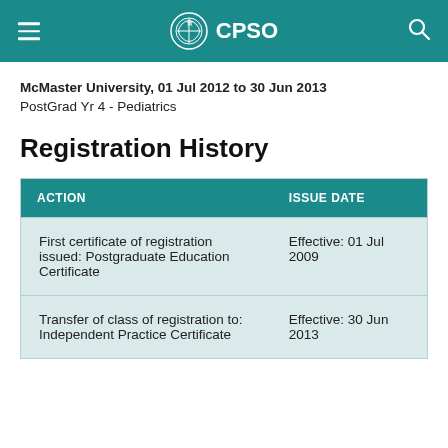CPSO
McMaster University, 01 Jul 2012 to 30 Jun 2013
PostGrad Yr 4 - Pediatrics
Registration History
| ACTION | ISSUE DATE |
| --- | --- |
| First certificate of registration issued: Postgraduate Education Certificate | Effective: 01 Jul 2009 |
| Transfer of class of registration to: Independent Practice Certificate | Effective: 30 Jun 2013 |